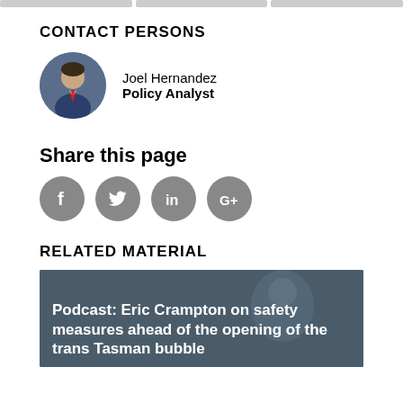CONTACT PERSONS
[Figure (photo): Circular avatar photo of Joel Hernandez, a man in a suit with a tie]
Joel Hernandez
Policy Analyst
Share this page
[Figure (infographic): Social media share icons: Facebook, Twitter, LinkedIn, Google+]
RELATED MATERIAL
[Figure (photo): Related article card with dark overlay showing a person in background]
Podcast: Eric Crampton on safety measures ahead of the opening of the trans Tasman bubble